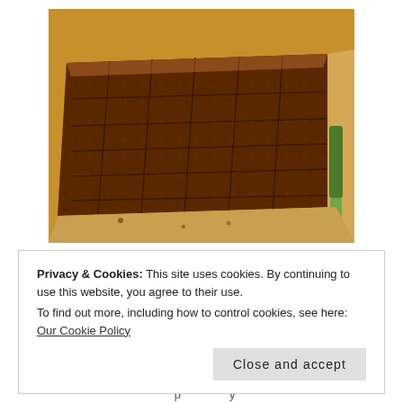[Figure (photo): Overhead close-up of a dark brown baked parkin cake scored and cut into rectangular pieces, on parchment paper with a knife visible at the right edge]
Three-Ginger Bonfire Night Parkin with Vanilla-Apple Compote
Privacy & Cookies: This site uses cookies. By continuing to use this website, you agree to their use.
To find out more, including how to control cookies, see here: Our Cookie Policy
Close and accept